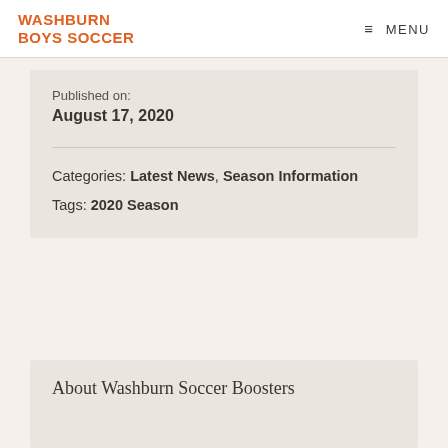WASHBURN BOYS SOCCER — MENU
Published on:
August 17, 2020
Categories: Latest News, Season Information
Tags: 2020 Season
About Washburn Soccer Boosters